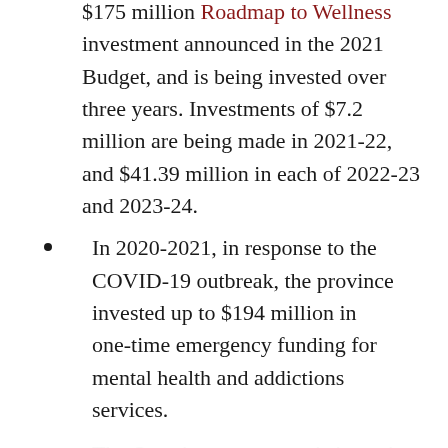$175 million Roadmap to Wellness investment announced in the 2021 Budget, and is being invested over three years. Investments of $7.2 million are being made in 2021-22, and $41.39 million in each of 2022-23 and 2023-24.
In 2020-2021, in response to the COVID-19 outbreak, the province invested up to $194 million in one-time emergency funding for mental health and addictions services.
The Ontario government is investing $2.5 million in Breaking Free Online, an innovative therapy tool that makes it faster and easier for Ontarians to access safe and effective addictions supports.